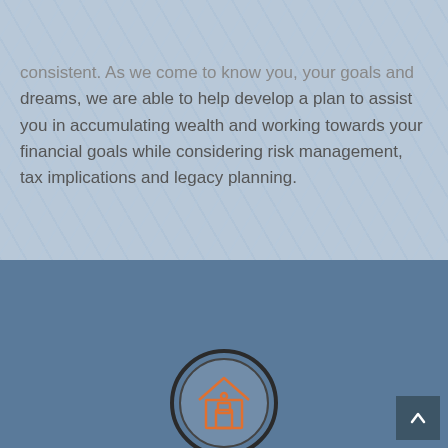[Figure (other): Dark teal header bar with hamburger menu icon (three white horizontal lines)]
consistent. As we come to know you, your goals and dreams, we are able to help develop a plan to assist you in accumulating wealth and working towards your financial goals while considering risk management, tax implications and legacy planning.
[Figure (other): Blue-grey lower section background with a partially visible circular icon featuring a house/building symbol in orange outline style, and a back-to-top arrow button in the bottom right corner.]